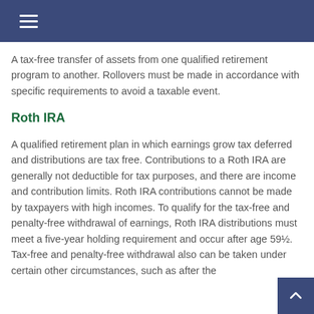A tax-free transfer of assets from one qualified retirement program to another. Rollovers must be made in accordance with specific requirements to avoid a taxable event.
Roth IRA
A qualified retirement plan in which earnings grow tax deferred and distributions are tax free. Contributions to a Roth IRA are generally not deductible for tax purposes, and there are income and contribution limits. Roth IRA contributions cannot be made by taxpayers with high incomes. To qualify for the tax-free and penalty-free withdrawal of earnings, Roth IRA distributions must meet a five-year holding requirement and occur after age 59½. Tax-free and penalty-free withdrawal also can be taken under certain other circumstances, such as after the